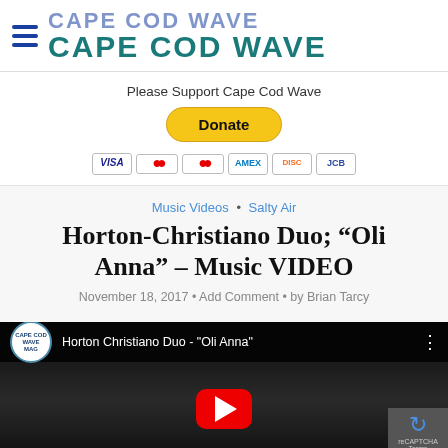CAPE COD WAVE
Please Support Cape Cod Wave
Donate
[Figure (other): Payment method icons: VISA, Mastercard, Mastercard, American Express, Discover, JCB]
Music Videos · Salty Air
Horton-Christiano Duo; “Oli Anna” – Music VIDEO
November 18, 2017 • Add Comment • by Brian Tarcy
[Figure (screenshot): YouTube video thumbnail for 'Horton Christiano Duo - "Oli Anna"' with YouTube play button overlay and Cape Cod Wave Magazine logo]